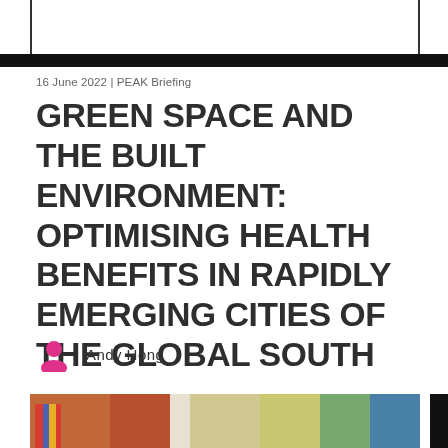[Figure (other): White rectangle with border at top of page, partially cut off]
16 June 2022 | PEAK Briefing
GREEN SPACE AND THE BUILT ENVIRONMENT: OPTIMISING HEALTH BENEFITS IN RAPIDLY EMERGING CITIES OF THE GLOBAL SOUTH
Andy Hong
[Figure (photo): Bottom strip showing colorful outdoor scene with people]